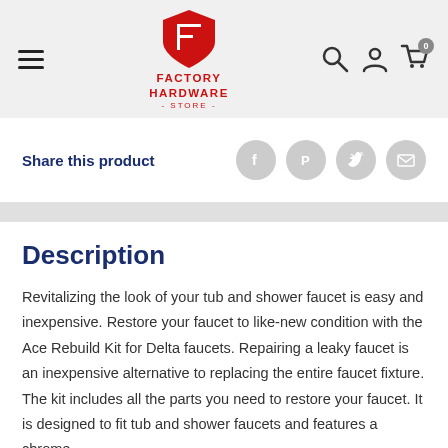Factory Hardware Store
Share this product
Description
Revitalizing the look of your tub and shower faucet is easy and inexpensive. Restore your faucet to like-new condition with the Ace Rebuild Kit for Delta faucets. Repairing a leaky faucet is an inexpensive alternative to replacing the entire faucet fixture. The kit includes all the parts you need to restore your faucet. It is designed to fit tub and shower faucets and features a chrome